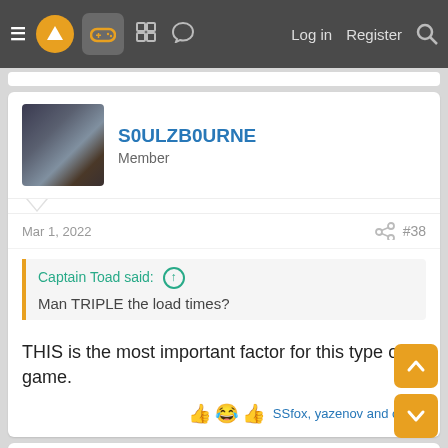≡  [logo]  [gamepad icon]  [grid icon]  [chat icon]  Log in  Register  [search]
S0ULZB0URNE
Member
Mar 1, 2022  #38
Captain Toad said: ↑
Man TRIPLE the load times?
THIS is the most important factor for this type of game.
SSfox, yazenov and octiny
FrankWza
Member